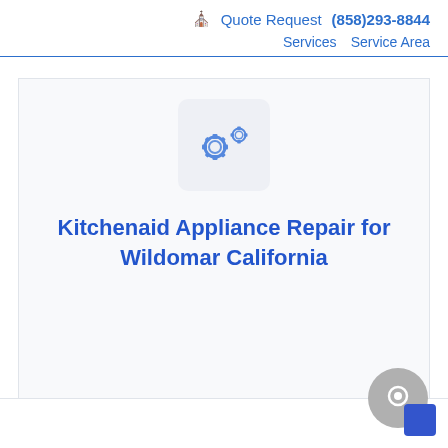🏠 Quote Request (858)293-8844 | Services Service Area
[Figure (illustration): Two blue gear/cog icons inside a light grey rounded rectangle box, representing appliance repair services]
Kitchenaid Appliance Repair for Wildomar California